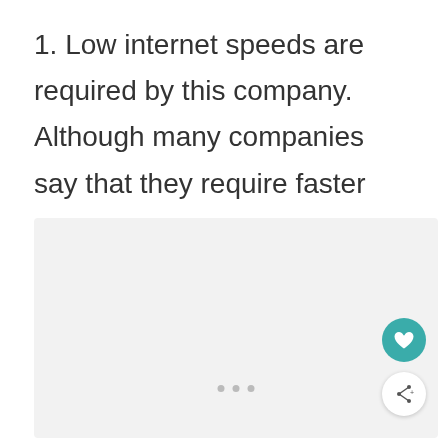1. Low internet speeds are required by this company. Although many companies say that they require faster speeds, teachers can get by with lower speeds.
[Figure (other): Light gray content placeholder box with three gray dots at the bottom center, a teal heart button and a white share button on the bottom right.]